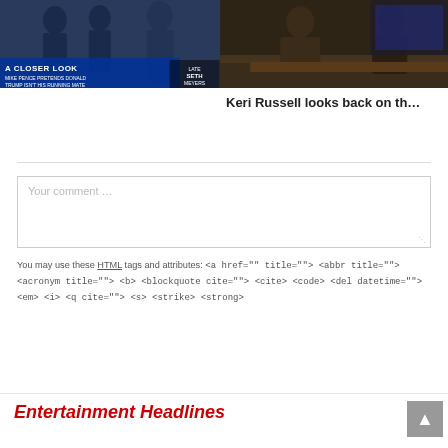[Figure (screenshot): Left video thumbnail showing TV show 'A Closer Look' with text overlay 'A CLOSER LOOK - MIKE PENCE PRETENDS DONALD TRUMP ISN'T HIS RUNNING MATE' and Late Night Seth Meyers logo]
[Figure (screenshot): Right video thumbnail showing two people in interview setting on Late Night set]
Keri Russell looks back on th…
Your comment …
You may use these HTML tags and attributes: <a href="" title=""> <abbr title=""> <acronym title=""> <b> <blockquote cite=""> <cite> <code> <del datetime=""> <em> <i> <q cite=""> <s> <strike> <strong>
Entertainment Headlines